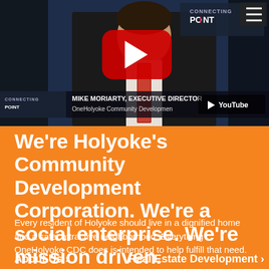[Figure (screenshot): YouTube video thumbnail showing Mike Moriarty, Executive Director of OneHolyoke Community Development, in a TV interview on 'Connecting Point' program. A large YouTube play button overlay is visible. A hamburger menu icon appears in the top right corner.]
We’re Holyoke’s Community Development Corporation. We’re a social enterprise. We’re mission driven.
Every resident of Holyoke should live in a dignified home and a safe, attractive neighborhood. Everything OneHolyoke CDC does is intended to help fulfill that need.
About Us ›
Real Estate Development ›